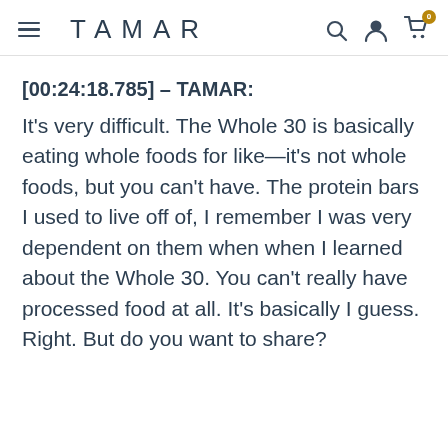TAMAR
[00:24:18.785] – TAMAR:
It's very difficult. The Whole 30 is basically eating whole foods for like—it's not whole foods, but you can't have. The protein bars I used to live off of, I remember I was very dependent on them when when I learned about the Whole 30. You can't really have processed food at all. It's basically I guess. Right. But do you want to share?